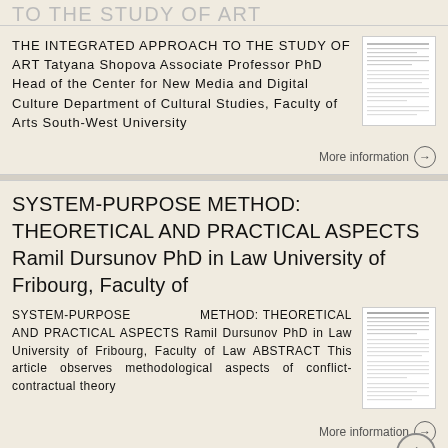TO THE STUDY OF ART
THE INTEGRATED APPROACH TO THE STUDY OF ART Tatyana Shopova Associate Professor PhD Head of the Center for New Media and Digital Culture Department of Cultural Studies, Faculty of Arts South-West University
[Figure (other): Thumbnail preview of document page]
More information →
SYSTEM-PURPOSE METHOD: THEORETICAL AND PRACTICAL ASPECTS Ramil Dursunov PhD in Law University of Fribourg, Faculty of
SYSTEM-PURPOSE METHOD: THEORETICAL AND PRACTICAL ASPECTS Ramil Dursunov PhD in Law University of Fribourg, Faculty of Law ABSTRACT This article observes methodological aspects of conflict-contractual theory
[Figure (other): Thumbnail preview of document page]
More information →